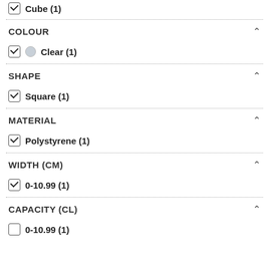Cube (1)
COLOUR
Clear (1)
SHAPE
Square (1)
MATERIAL
Polystyrene (1)
WIDTH (CM)
0-10.99 (1)
CAPACITY (CL)
0-10.99 (1)